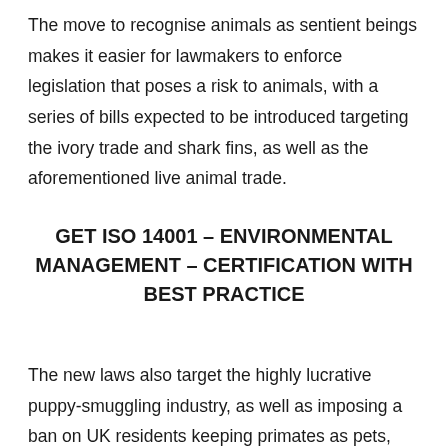The move to recognise animals as sentient beings makes it easier for lawmakers to enforce legislation that poses a risk to animals, with a series of bills expected to be introduced targeting the ivory trade and shark fins, as well as the aforementioned live animal trade.
GET ISO 14001 – ENVIRONMENTAL MANAGEMENT – CERTIFICATION WITH BEST PRACTICE
The new laws also target the highly lucrative puppy-smuggling industry, as well as imposing a ban on UK residents keeping primates as pets, and banning